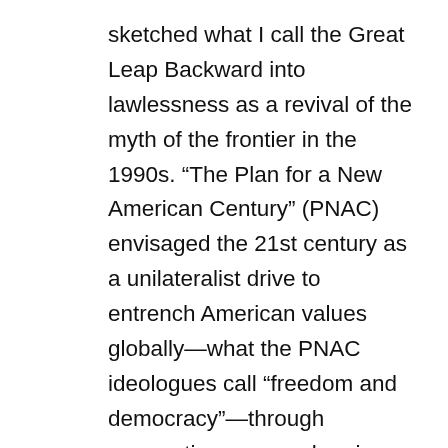sketched what I call the Great Leap Backward into lawlessness as a revival of the myth of the frontier in the 1990s. “The Plan for a New American Century” (PNAC) envisaged the 21st century as a unilateralist drive to entrench American values globally—what the PNAC ideologues call “freedom and democracy”—through preemptive wars and regime change. This frenzied delirium of US military domination turned into official foreign policy with the Bush Doctrine after 9/11, but it was the Clinton administration’s Doctrine of Humanitarian Warfare before 9/11, that shut the door on the prohibition of aggressive wars by the UN Charter, remaking the map of the world into a borderless American hunting reserve by